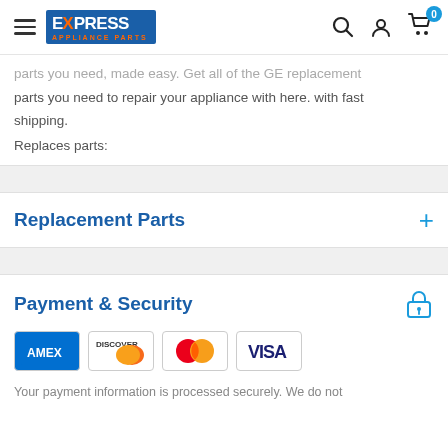Express Appliance Parts - navigation header with hamburger menu, logo, search, account, and cart icons
parts you need, made easy. Get all of the GE replacement parts you need to repair your appliance with here. with fast shipping.
Replaces parts:
Replacement Parts
Payment & Security
[Figure (other): Payment method logos: American Express (AMEX), Discover, Mastercard, Visa]
Your payment information is processed securely. We do not